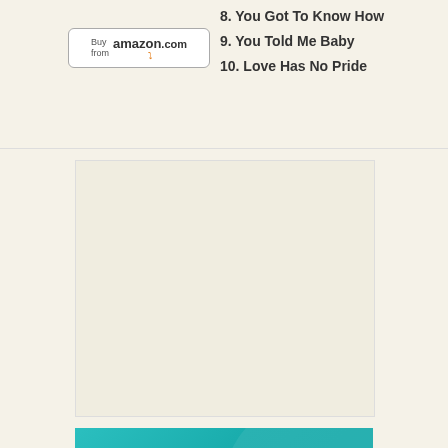[Figure (other): Buy from Amazon.com button with Amazon logo and orange smile]
8. You Got To Know How
9. You Told Me Baby
10. Love Has No Pride
[Figure (other): Empty light-colored advertisement placeholder box]
[Figure (other): Teal gradient banner reading 'Emergency Alerts save lives.']